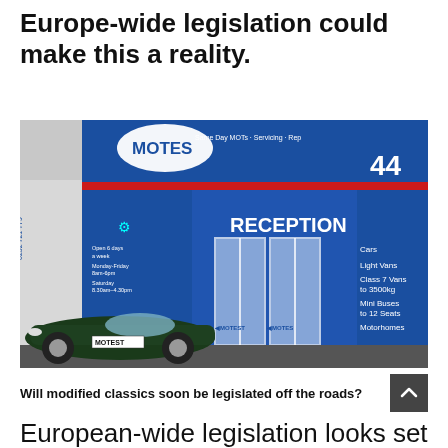Europe-wide legislation could make this a reality.
[Figure (photo): Exterior of a Motest MOT and servicing centre with blue signage showing 'Same Day MOTs · Servicing · Repairs', 'RECEPTION', listing Cars, Light Vans, Class 7 Vans to 3500kg, Mini Buses to 12 Seats, Motorhomes. A dark green sports car with number plate 'MOTEST' is parked in front.]
Will modified classics soon be legislated off the roads?
European-wide legislation looks set to